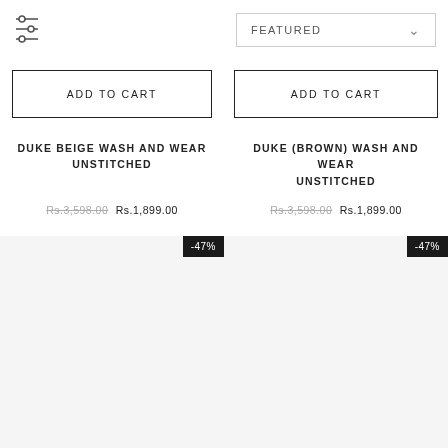[Figure (other): Filter/sort icon with three horizontal sliders]
FEATURED
ADD TO CART
ADD TO CART
DUKE BEIGE WASH AND WEAR UNSTITCHED
DUKE (BROWN) WASH AND WEAR UNSTITCHED
Rs.3,598.00  Rs.1,899.00
Rs.3,598.00  Rs.1,899.00
-47%
-47%
[Figure (photo): Product image area left (light gray background)]
[Figure (photo): Product image area right (light gray background)]